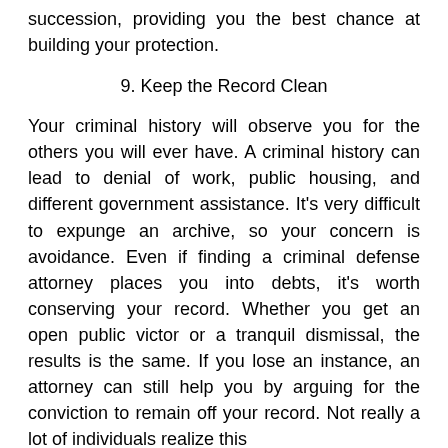succession, providing you the best chance at building your protection.
9. Keep the Record Clean
Your criminal history will observe you for the others you will ever have. A criminal history can lead to denial of work, public housing, and different government assistance. It's very difficult to expunge an archive, so your concern is avoidance. Even if finding a criminal defense attorney places you into debts, it's worth conserving your record. Whether you get an open public victor or a tranquil dismissal, the results is the same. If you lose an instance, an attorney can still help you by arguing for the conviction to remain off your record. Not really a lot of individuals realize this